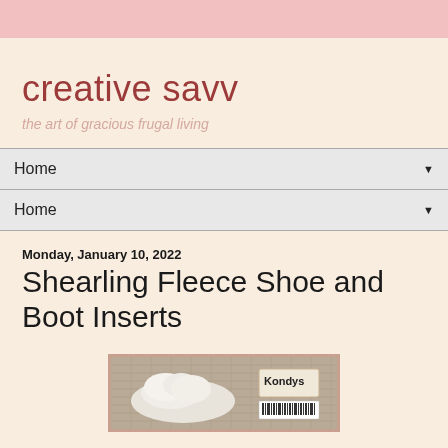creative savv
the art of gracious frugal living
Home ▼
Home ▼
Monday, January 10, 2022
Shearling Fleece Shoe and Boot Inserts
[Figure (photo): Photo of shearling fleece shoe/boot inserts on a burlap background with a tag reading 'Kondys' and a barcode label]